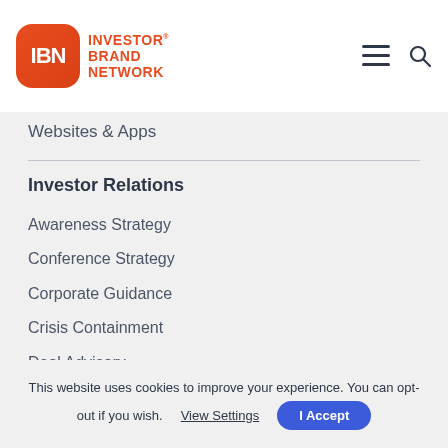[Figure (logo): Investor Brand Network logo: orange rounded rectangle badge with white 'IBN' text, next to orange bold text 'INVESTOR BRAND NETWORK' in three lines]
Websites & Apps
Investor Relations
Awareness Strategy
Conference Strategy
Corporate Guidance
Crisis Containment
Deal Advisory
Digital Communications
Email Marketing
Financing Support
This website uses cookies to improve your experience. You can opt-out if you wish. View Settings | I Accept